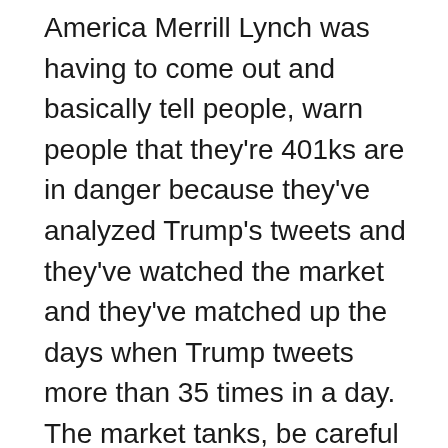America Merrill Lynch was having to come out and basically tell people, warn people that they're 401ks are in danger because they've analyzed Trump's tweets and they've watched the market and they've matched up the days when Trump tweets more than 35 times in a day. The market tanks, be careful of those days. Watch your 401k because it gets pretty bad those days. Well, not one to be left out of the major Wall Street banks tracking Twitter a issue. J P Morgan has now created what they're calling the vol fefa index, which is a combination of the words volatility. And Trump's made up word coheafe. So the Vol Fefa index that JP Morgan has created basically tracks Donald Trump's tweets and market reactions to them. Now, when JP Morgan created this, they said